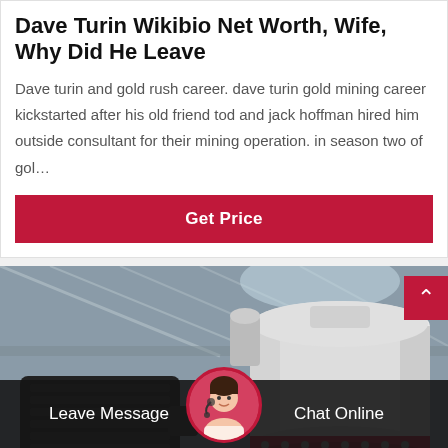Dave Turin Wikibio Net Worth, Wife, Why Did He Leave
Dave turin and gold rush career. dave turin gold mining career kickstarted after his old friend tod and jack hoffman hired him outside consultant for their mining operation. in season two of gol…
Get Price
[Figure (photo): Industrial mining machine (cone crusher) in a factory/warehouse setting with large electric motor visible on the left and a white cylindrical cone crusher on the right, under a metal roof structure.]
Leave Message
Chat Online